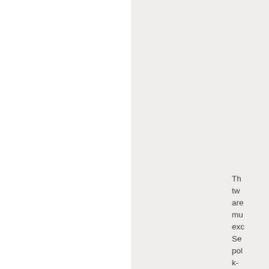The two are mu- exc- Se- pol k-